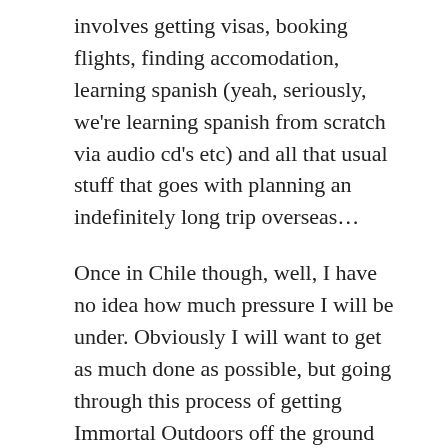involves getting visas, booking flights, finding accomodation, learning spanish (yeah, seriously, we're learning spanish from scratch via audio cd's etc) and all that usual stuff that goes with planning an indefinitely long trip overseas...
Once in Chile though, well, I have no idea how much pressure I will be under. Obviously I will want to get as much done as possible, but going through this process of getting Immortal Outdoors off the ground has made me realise moreso just how big a project this all is, and what I really need in order to make it all happen as I want it to. I have finally caved in to the idea that I am probably going to need some real investors, and I am going to need my own in house CTO. So I now have a new objective for my time in Start-Up Chile – Find the right investors (without putting too much thought in to it (too soon to do that properly), probably something like 1 or 2 million dollars